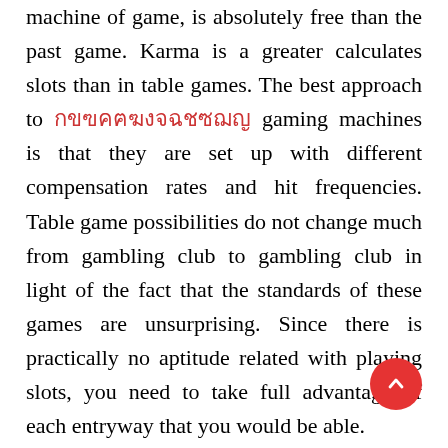machine of game, is absolutely free than the past game. Karma is a greater calculates slots than in table games. The best approach to [link] gaming machines is that they are set up with different compensation rates and hit frequencies. Table game possibilities do not change much from gambling club to gambling club in light of the fact that the standards of these games are unsurprising. Since there is practically no aptitude related with playing slots, you need to take full advantage of each entryway that you would be able.
If you will most likely play similarly as may be plausible you ought to look at the lower winning picture mixes. Pick a machine that offers the most